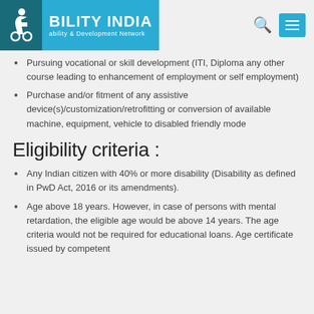BILITY INDIA - Ability & Development Network
Pursuing vocational or skill development (ITI, Diploma any other course leading to enhancement of employment or self employment)
Purchase and/or fitment of any assistive device(s)/customization/retrofitting or conversion of available machine, equipment, vehicle to disabled friendly mode
Eligibility criteria :
Any Indian citizen with 40% or more disability (Disability as defined in PwD Act, 2016 or its amendments).
Age above 18 years. However, in case of persons with mental retardation, the eligible age would be above 14 years. The age criteria would not be required for educational loans. Age certificate issued by competent authority would be valid.